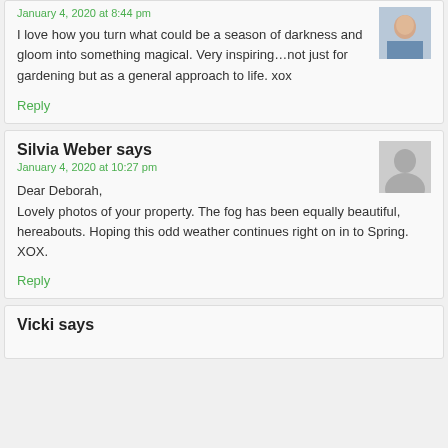January 4, 2020 at 8:44 pm
I love how you turn what could be a season of darkness and gloom into something magical. Very inspiring…not just for gardening but as a general approach to life. xox
Reply
Silvia Weber says
January 4, 2020 at 10:27 pm
Dear Deborah,
Lovely photos of your property. The fog has been equally beautiful, hereabouts. Hoping this odd weather continues right on in to Spring.
XOX.
Reply
Vicki says